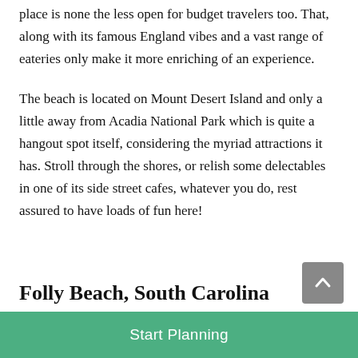place is none the less open for budget travelers too. That, along with its famous England vibes and a vast range of eateries only make it more enriching of an experience.
The beach is located on Mount Desert Island and only a little away from Acadia National Park which is quite a hangout spot itself, considering the myriad attractions it has. Stroll through the shores, or relish some delectables in one of its side street cafes, whatever you do, rest assured to have loads of fun here!
Folly Beach, South Carolina
Start Planning